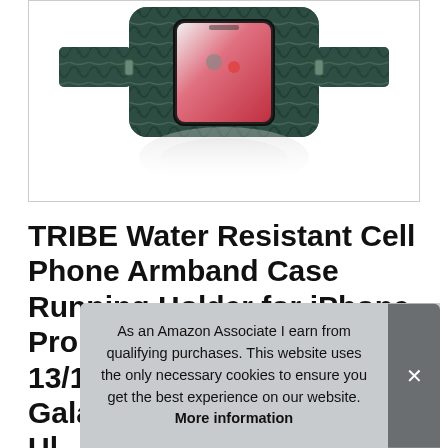[Figure (photo): Product photo of a TRIBE water resistant phone armband case with a patterned teal/black design holding an iPhone, shown against white background with reflection below.]
TRIBE Water Resistant Cell Phone Armband Case Running Holder for iPhone Pro Max Plus Mini SE 13/12/11/X/XS/XR/8/7/6/5 Galaxy S Ul... 21... Key Pocket
As an Amazon Associate I earn from qualifying purchases. This website uses the only necessary cookies to ensure you get the best experience on our website. More information